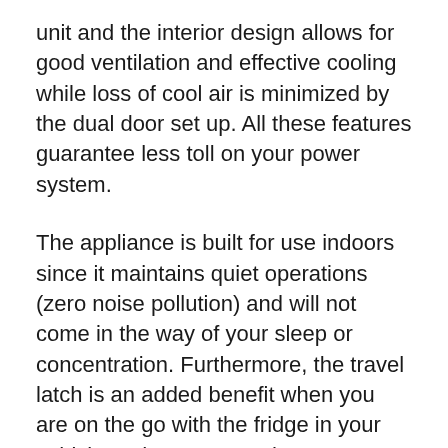unit and the interior design allows for good ventilation and effective cooling while loss of cool air is minimized by the dual door set up. All these features guarantee less toll on your power system.
The appliance is built for use indoors since it maintains quiet operations (zero noise pollution) and will not come in the way of your sleep or concentration. Furthermore, the travel latch is an added benefit when you are on the go with the fridge in your vehicle and you expect the contents within the fridge to be secure.
Furrion Vibration Smart technology cushions the inside of the refrigerator during road travel, thus securing the contents within the refrigerator. The